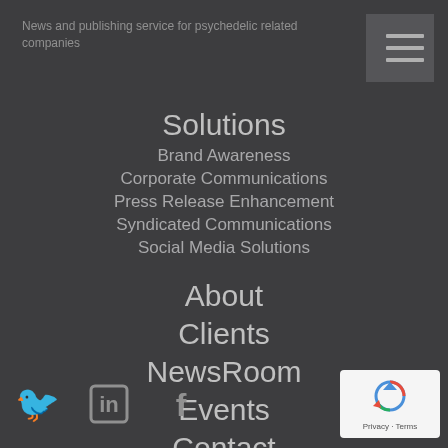News and publishing service for psychedelic related companies
Solutions
Brand Awareness
Corporate Communications
Press Release Enhancement
Syndicated Communications
Social Media Solutions
About
Clients
NewsRoom
Events
Contact
Disclaimer
[Figure (infographic): Social media icons: Twitter bird, LinkedIn 'in', Facebook 'f']
[Figure (logo): Google reCAPTCHA badge with Privacy and Terms text]